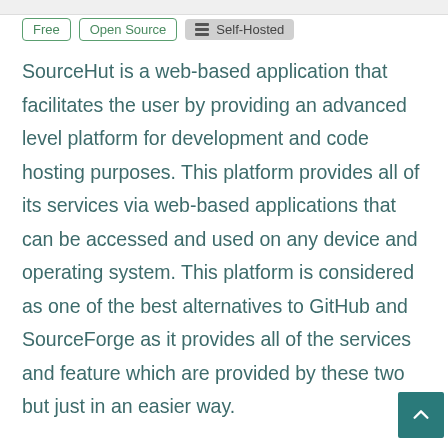Free  Open Source  Self-Hosted
SourceHut is a web-based application that facilitates the user by providing an advanced level platform for development and code hosting purposes. This platform provides all of its services via web-based applications that can be accessed and used on any device and operating system. This platform is considered as one of the best alternatives to GitHub and SourceForge as it provides all of the services and feature which are provided by these two but just in an easier way.